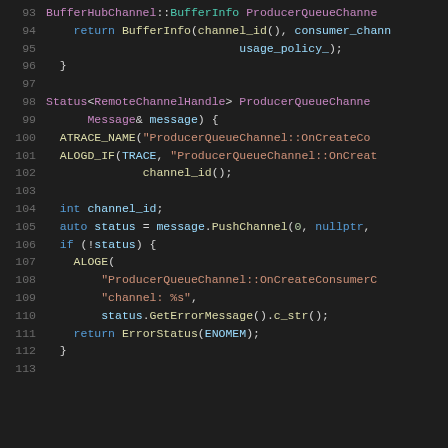[Figure (screenshot): Source code listing lines 93–113 in a dark-themed code editor showing C++ code for ProducerQueueChannel methods with syntax highlighting.]